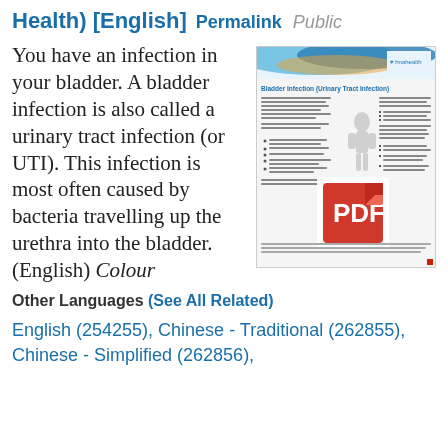Health) [English] Permalink Public
You have an infection in your bladder. A bladder infection is also called a urinary tract infection (or UTI). This infection is most often caused by bacteria travelling up the urethra into the bladder. (English) Colour
[Figure (other): Thumbnail image of a medical brochure titled 'Bladder Infection (Urinary Tract Infection)' with a human body diagram and a PDF icon overlay]
Other Languages (See All Related)
English (254255), Chinese - Traditional (262855), Chinese - Simplified (262856),